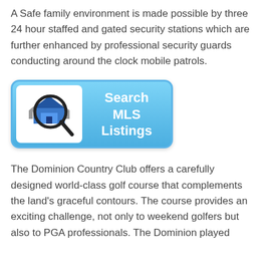A Safe family environment is made possible by three 24 hour staffed and gated security stations which are further enhanced by professional security guards conducting around the clock mobile patrols.
[Figure (illustration): A blue rounded rectangle button with a white icon box on the left showing a magnifying glass over a house with two smaller houses beside it, and white bold text on the right reading 'Search MLS Listings']
The Dominion Country Club offers a carefully designed world-class golf course that complements the land's graceful contours. The course provides an exciting challenge, not only to weekend golfers but also to PGA professionals. The Dominion played...